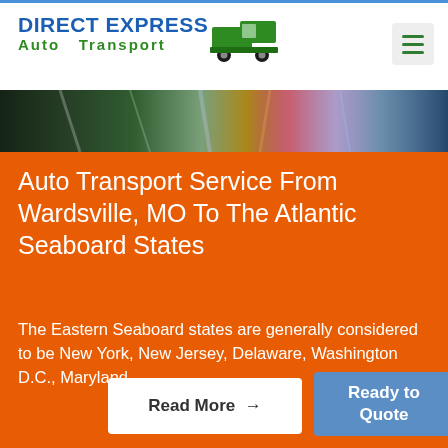DIRECT EXPRESS Auto Transport
[Figure (photo): Blurred colorful abstract hero image banner with trees/foliage]
Auto Transport Service From Wardsville, MO To The Atlantic Seaboard States
The Eastern Seaboard states are generally considered to be New York, New Jersey, Delaware, Washington D.C., Maryland...
Read More →
Ready to Quote